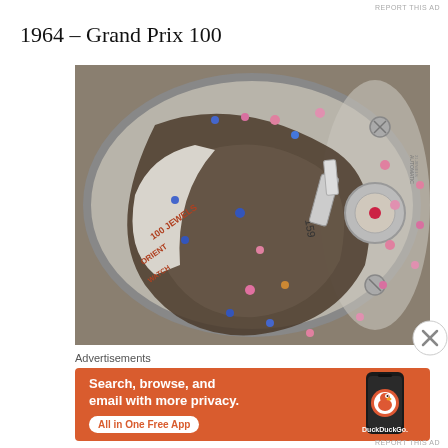REPORT THIS AD
1964 – Grand Prix 100
[Figure (photo): Close-up photograph of the internal mechanism of a vintage Orient watch movement showing jewels, gears, and the text '100 JEWELS ORIENT WATCH' engraved on the rotor. Serial number 159 visible. Pink, blue, and gold jewels visible throughout the movement.]
Advertisements
[Figure (other): DuckDuckGo advertisement banner with orange background showing text 'Search, browse, and email with more privacy. All in One Free App' with a phone showing the DuckDuckGo app and logo.]
REPORT THIS AD